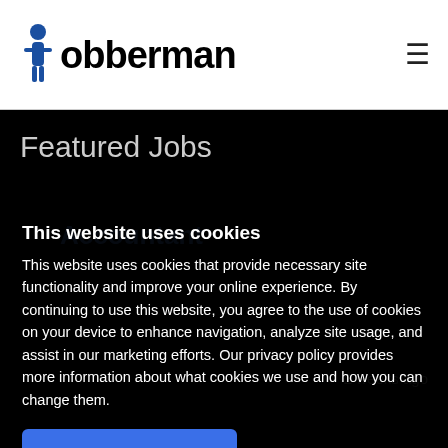Jobberman
Featured Jobs
Accountant
2 weeks ago
This website uses cookies
This website uses cookies that provide necessary site functionality and improve your online experience. By continuing to use this website, you agree to the use of cookies on your device to enhance navigation, analyze site usage, and assist in our marketing efforts. Our privacy policy provides more information about what cookies we use and how you can change them.
Accept and Close
Learn More